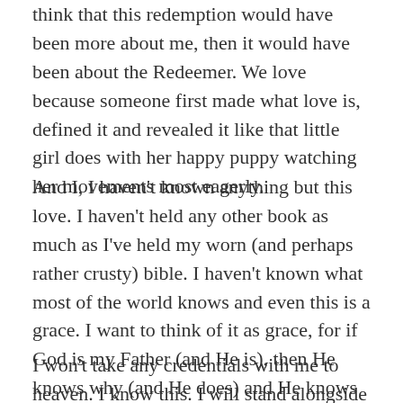think that this redemption would have been more about me, then it would have been about the Redeemer. We love because someone first made what love is, defined it and revealed it like that little girl does with her happy puppy watching her movements most eagerly.
And I, I haven't known anything but this love. I haven't held any other book as much as I've held my worn (and perhaps rather crusty) bible. I haven't known what most of the world knows and even this is a grace. I want to think of it as grace, for if God is my Father (and He is), then He knows why (and He does) and He knows well enough to do what is perfectly good and reasonable and beyond reason too.
I won't take any credentials with me to heaven. I know this. I will stand alongside the prodigal and we will